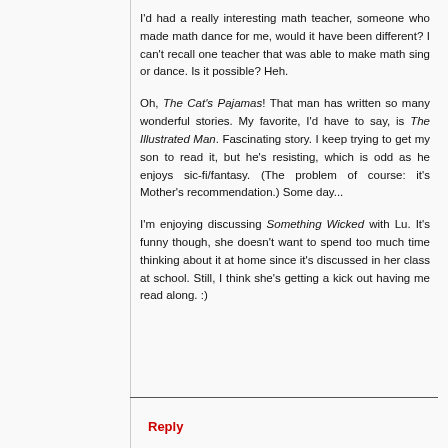I'd had a really interesting math teacher, someone who made math dance for me, would it have been different? I can't recall one teacher that was able to make math sing or dance. Is it possible? Heh.
Oh, The Cat's Pajamas! That man has written so many wonderful stories. My favorite, I'd have to say, is The Illustrated Man. Fascinating story. I keep trying to get my son to read it, but he's resisting, which is odd as he enjoys sic-fi/fantasy. (The problem of course: it's Mother's recommendation.) Some day...
I'm enjoying discussing Something Wicked with Lu. It's funny though, she doesn't want to spend too much time thinking about it at home since it's discussed in her class at school. Still, I think she's getting a kick out having me read along. :)
Reply